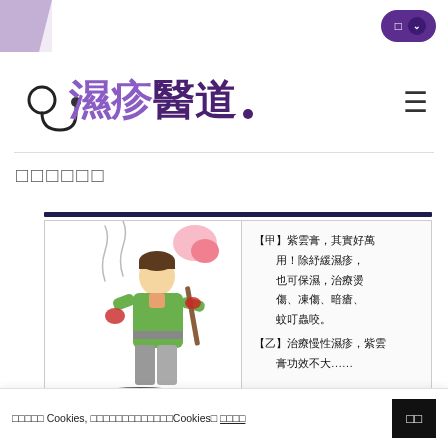湿疹醫道 website header with language toggle button
[Figure (logo): 湿疹醫道 logo with stethoscope icon, purple and dark text, and hamburger menu icon]
□□□□□□
[Figure (illustration): Comic-style illustration of a person cooking purple substance in a wok. Right side shows Chinese text about 紫雲膏 (Shiunko ointment): [甲] 紫雲膏，其實好萬用！除紓緩濕疹，也可保濕，治療燙傷、凍傷、暗瘡、蚊叮蟲咬。[乙] 治療慢性濕疹，紫雲膏功效不大…… Footnote: 《外科正宗》潤肌膏（現稱紫雲膏）]
□□□□□ Cookies, □□□□□□□□□□□□□Cookies□ □□□□ 　OK